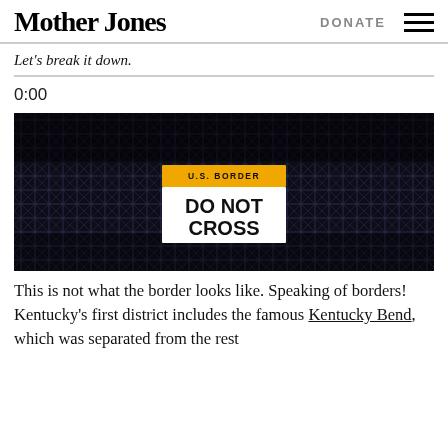Mother Jones | DONATE
Let's break it down.
0:00
[Figure (photo): A U.S. Border 'DO NOT CROSS' sign attached to a dark metal fence mesh/grid]
This is not what the border looks like. Speaking of borders! Kentucky's first district includes the famous Kentucky Bend, which was separated from the rest of the...